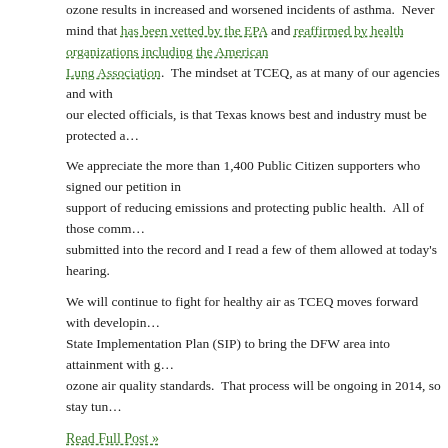ozone results in increased and worsened incidents of asthma. Never mind that this has been vetted by the EPA and reaffirmed by health organizations including the American Lung Association. The mindset at TCEQ, as at many of our agencies and with our elected officials, is that Texas knows best and industry must be protected a…
We appreciate the more than 1,400 Public Citizen supporters who signed our petition in support of reducing emissions and protecting public health. All of those comments were submitted into the record and I read a few of them allowed at today's hearing.
We will continue to fight for healthy air as TCEQ moves forward with developing the State Implementation Plan (SIP) to bring the DFW area into attainment with groundlevel ozone air quality standards. That process will be ongoing in 2014, so stay tuned.
Read Full Post »
Houston's Ozone Compliance Threatened by White Stallion Coal Plant
Posted in Global Warming, tagged Air Quality, al armendariz, ana hernandez, asthma, clean air act, coal plant, colorado river, compliance, environment, Environmental Protection Agency, galveston, health, houston, jessica farrar, kristi thibaut, matagorda county, nox, ozone, parish coal plant, Public Citizen, ryan rittenhouse, smog, state office of administrative hearings review, TCEQ, Texas, Texas Commission on Environmental Quality, Texas Legislature